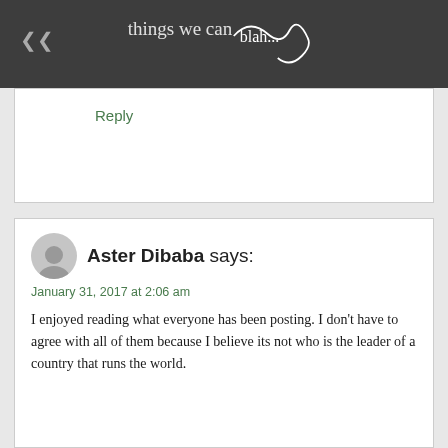things we can...
Reply
Aster Dibaba says:
January 31, 2017 at 2:06 am
I enjoyed reading what everyone has been posting. I don't have to agree with all of them because I believe its not who is the leader of a country that runs the world.